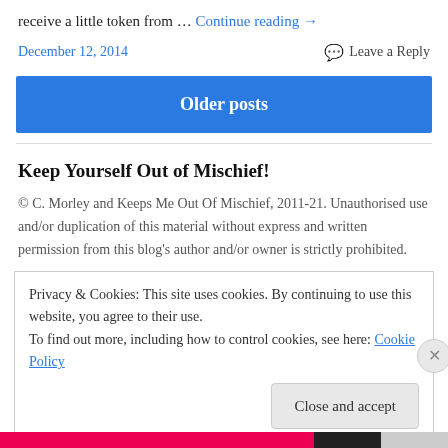receive a little token from … Continue reading →
December 12, 2014    💬 Leave a Reply
Older posts
Keep Yourself Out of Mischief!
© C. Morley and Keeps Me Out Of Mischief, 2011-21. Unauthorised use and/or duplication of this material without express and written permission from this blog's author and/or owner is strictly prohibited.
Privacy & Cookies: This site uses cookies. By continuing to use this website, you agree to their use.
To find out more, including how to control cookies, see here: Cookie Policy
Close and accept